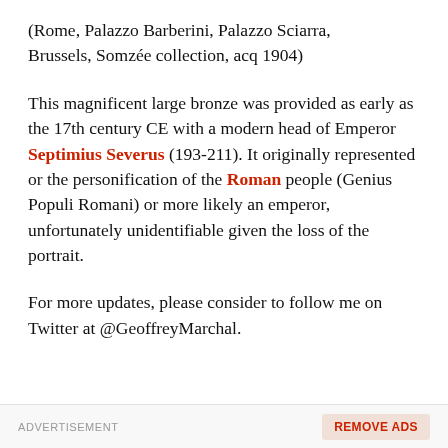(Rome, Palazzo Barberini, Palazzo Sciarra, Brussels, Somzée collection, acq 1904)
This magnificent large bronze was provided as early as the 17th century CE with a modern head of Emperor Septimius Severus (193-211). It originally represented or the personification of the Roman people (Genius Populi Romani) or more likely an emperor, unfortunately unidentifiable given the loss of the portrait.
For more updates, please consider to follow me on Twitter at @GeoffreyMarchal.
ADVERTISEMENT   REMOVE ADS